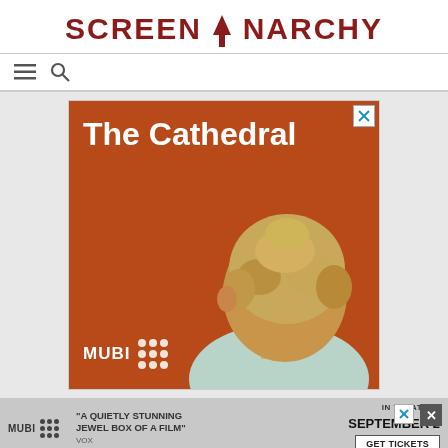SCREENANARCHY
[Figure (screenshot): Navigation bar with hamburger menu icon and search icon]
[Figure (illustration): MUBI advertisement for 'The Cathedral' film. Orange/burnt-sienna background. Large white bold text reads 'The Cathedral'. A person with short blonde/light brown curly hair shown from behind wears a light-colored top. Bottom left shows MUBI logo with 3x3 dot grid pattern in white. Close button (X) in top right corner.]
[Figure (screenshot): Bottom banner ad for MUBI film. Gray background. Left: MUBI logo with dot grid. Center quote: '"A QUIETLY STUNNING JEWEL BOX OF A FILM" - VOX'. Right side: 'IN THEATERS SEPTEMBER 2' and 'GET TICKETS' button. Close X buttons on right.]
RECENT POSTS